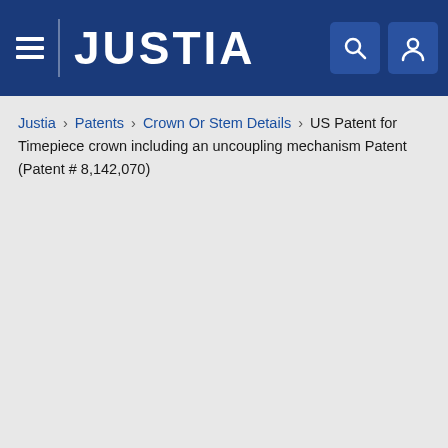JUSTIA
Justia › Patents › Crown Or Stem Details › US Patent for Timepiece crown including an uncoupling mechanism Patent (Patent # 8,142,070)